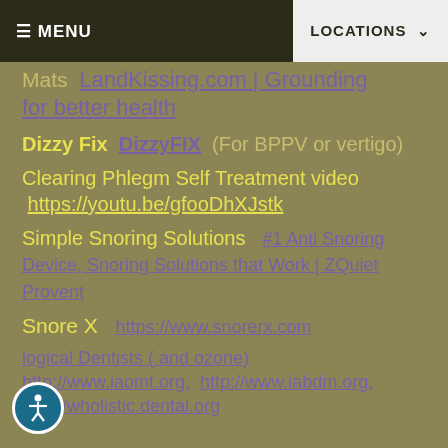MENU   LOCATIONS
Mats  LandKissing.com | Grounding for better health
Dizzy Fix  DizzyFIX  (For BPPV or vertigo)
Clearing Phlegm Self Treatment video  https://youtu.be/gfooDhXJstk
Simple Snoring Solutions  #1 Anti Snoring Device, Snoring Solutions that Work | ZQuiet Provent
Snore X  https://www.snorerx.com
logical Dentists ( and ozone)  http://www.iaomt.org.  http://www.iabdm.org.  http://wholistic.dental.org